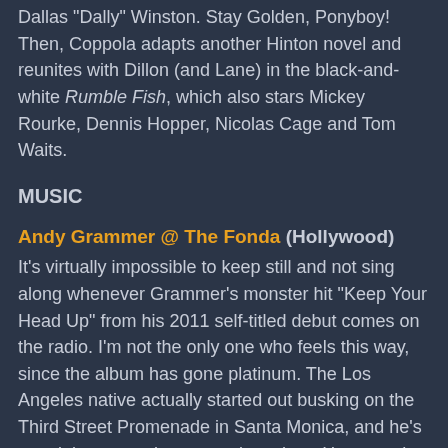Dallas "Dally" Winston. Stay Golden, Ponyboy! Then, Coppola adapts another Hinton novel and reunites with Dillon (and Lane) in the black-and-white Rumble Fish, which also stars Mickey Rourke, Dennis Hopper, Nicolas Cage and Tom Waits.
MUSIC
Andy Grammer @ The Fonda (Hollywood)
It's virtually impossible to keep still and not sing along whenever Grammer's monster hit "Keep Your Head Up" from his 2011 self-titled debut comes on the radio. I'm not the only one who feels this way, since the album has gone platinum. The Los Angeles native actually started out busking on the Third Street Promenade in Santa Monica, and he's certainly come a long way since then. However, he can still lure a crowd into the palm of his hand during his performances. Just spend the night with him at the Fonda and see for yourself.
SATURDAY, MAY 18